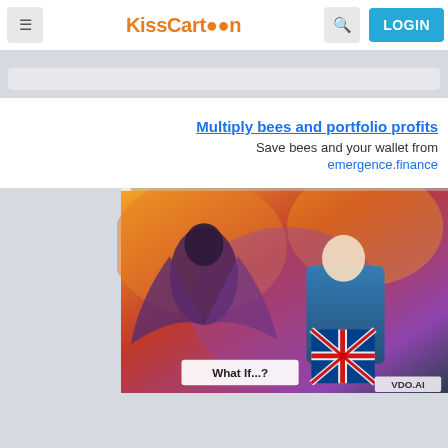KissCartoon | LOGIN
[Figure (screenshot): Advertisement banner: 'Multiply bees and portfolio profits' with subtitle 'Save bees and your wallet from' and link 'emergence.finance']
[Figure (illustration): Animated superhero scene showing characters in action poses with Union Jack shield; overlay text 'What If...?' and 'VDO.AI' watermark]